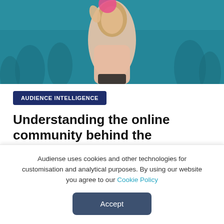[Figure (photo): Hero image showing a woman in a light pink blouse holding her hand up, with a teal/blue tinted crowd background and a pink circular element at top]
AUDIENCE INTELLIGENCE
Understanding the online community behind the metaverse & web 3
Aug 23, 2022 9:18:06 AM  |  5 min read
Audiense uses cookies and other technologies for customisation and analytical purposes. By using our website you agree to our Cookie Policy
Accept